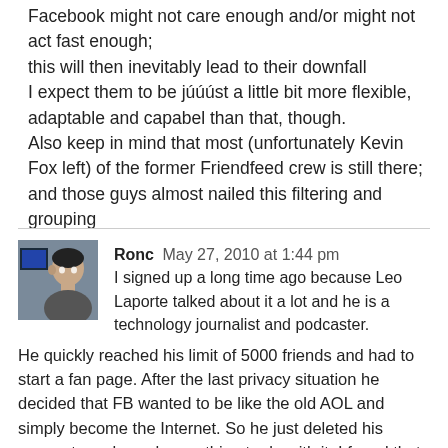Facebook might not care enough and/or might not act fast enough;
this will then inevitably lead to their downfall
I expect them to be júúúst a little bit more flexible, adaptable and capabel than that, though.
Also keep in mind that most (unfortunately Kevin Fox left) of the former Friendfeed crew is still there; and those guys almost nailed this filtering and grouping
Ronc  May 27, 2010 at 1:44 pm
I signed up a long time ago because Leo Laporte talked about it a lot and he is a technology journalist and podcaster. He quickly reached his limit of 5000 friends and had to start a fan page. After the last privacy situation he decided that FB wanted to be like the old AOL and simply become the Internet. So he just deleted his accounts and now has nothing to do with it. I found that nearly all of what Leo posted and most posts from everyone else, including myself, were of no real value or interest compared to other means of purposeful communication, like email or websites. I can only see myself using FB if the